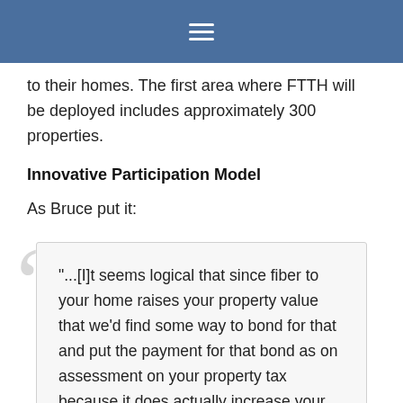≡
to their homes. The first area where FTTH will be deployed includes approximately 300 properties.
Innovative Participation Model
As Bruce put it:
"...[I]t seems logical that since fiber to your home raises your property value that we'd find some way to bond for that and put the payment for that bond as on assessment on your property tax because it does actually increase your property value so that's our goal. We do that with what they call a local